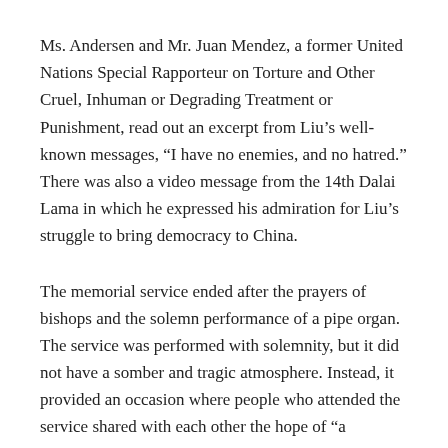Ms. Andersen and Mr. Juan Mendez, a former United Nations Special Rapporteur on Torture and Other Cruel, Inhuman or Degrading Treatment or Punishment, read out an excerpt from Liu’s well-known messages, “I have no enemies, and no hatred.” There was also a video message from the 14th Dalai Lama in which he expressed his admiration for Liu’s struggle to bring democracy to China.
The memorial service ended after the prayers of bishops and the solemn performance of a pipe organ. The service was performed with solemnity, but it did not have a somber and tragic atmosphere. Instead, it provided an occasion where people who attended the service shared with each other the hope of “a revolution for freedom begins here”.